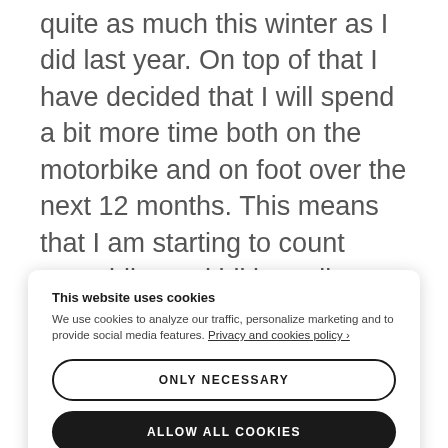quite as much this winter as I did last year. On top of that I have decided that I will spend a bit more time both on the motorbike and on foot over the next 12 months. This means that I am starting to count motorbike and hiking miles too as part of the total counter. They will however go in as bicycle miles equivalent on the assumption that the effort spent on the miles hiking is much higher than the effort on the bike but compensated by the much lower effort in the
This website uses cookies
We use cookies to analyze our traffic, personalize marketing and to provide social media features. Privacy and cookies policy ›
[ONLY NECESSARY] [ALLOW ALL COOKIES] CONFIGURE SETTINGS ›